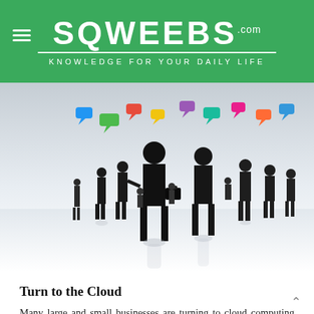SQWEEBS.com — KNOWLEDGE FOR YOUR DAILY LIFE
[Figure (photo): Silhouettes of business people networking at an event with colorful speech bubbles overhead, light reflective floor]
Turn to the Cloud
Many large and small businesses are turning to cloud computing architecture to improve their company. It is a low-cost, easy-to-use solution that allows you to access a platform or file on any device from anywhere in the world, as long as you have an internet connection. From access a considerable number of documents abroad to using an